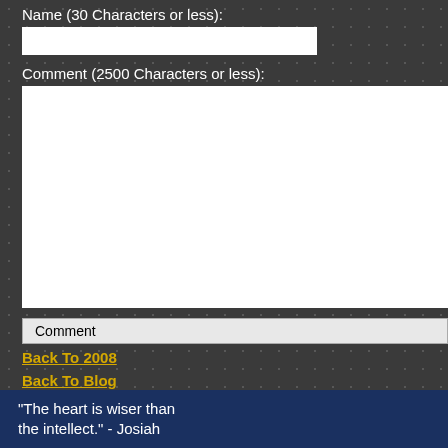Name (30 Characters or less):
Comment (2500 Characters or less):
Comment
Back To 2008
Back To Blog
Back To Self
Back To Main
"The heart is wiser than the intellect." - Josiah